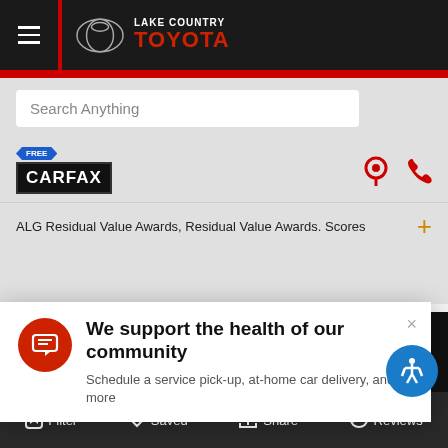[Figure (screenshot): Lake Country Toyota dealership website mobile view with navigation, search, CARFAX badge, popup, and bottom navigation bar]
Lake Country Toyota
Search Anything
[Figure (logo): Free CARFAX logo badge]
ALG Residual Value Awards, Residual Value Awards. Scores
We support the health of our community
Schedule a service pick-up, at-home car delivery, and more
Contact Us  Eprice  Chat  Call Us
Filter  Saved  Share  Reviews